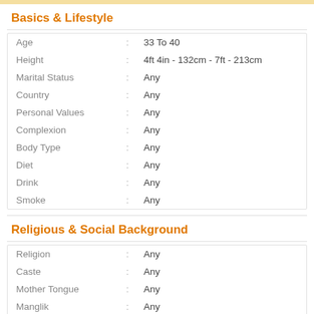Basics & Lifestyle
| Field |  | Value |
| --- | --- | --- |
| Age | : | 33 To 40 |
| Height | : | 4ft 4in - 132cm - 7ft - 213cm |
| Marital Status | : | Any |
| Country | : | Any |
| Personal Values | : | Any |
| Complexion | : | Any |
| Body Type | : | Any |
| Diet | : | Any |
| Drink | : | Any |
| Smoke | : | Any |
Religious & Social Background
| Field |  | Value |
| --- | --- | --- |
| Religion | : | Any |
| Caste | : | Any |
| Mother Tongue | : | Any |
| Manglik | : | Any |